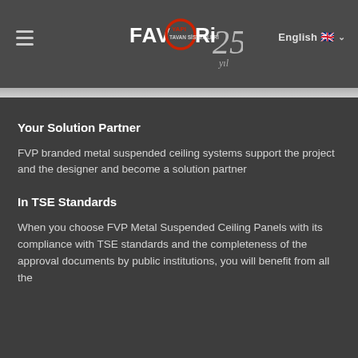[Figure (logo): FAVORi YAPI 25th anniversary logo with red circle accent]
Your Solution Partner
FVP branded metal suspended ceiling systems support the project and the designer and become a solution partner
In TSE Standards
When you choose FVP Metal Suspended Ceiling Panels with its compliance with TSE standards and the completeness of the approval documents by public institutions, you will benefit from all the advantages of working with an order relation...